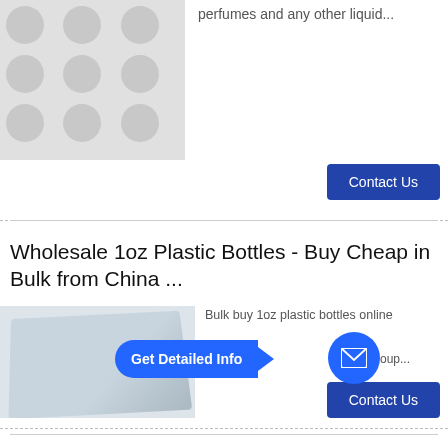[Figure (photo): Product photo showing industrial bottle mold with grid of circular cavities]
perfumes and any other liquid...
Contact Us
Wholesale 1oz Plastic Bottles - Buy Cheap in Bulk from China ...
[Figure (photo): Product photo of a metal tray or mold component]
Bulk buy 1oz plastic bottles online
Get Detailed Info
oup...
Contact Us
1 oz plastic containers - Shop this item on AliExpress